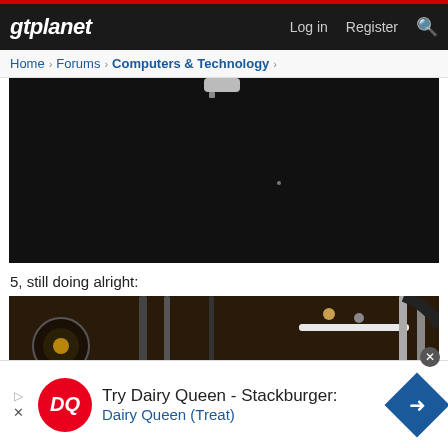gtplanet — Log in  Register
Home > Forums > Computers & Technology >
[Figure (photo): Dark/black photograph showing a small white object or connector at the top, mostly dark background with a faint bright dot]
5, still doing alright:
[Figure (photo): Partially visible photograph of dark brown/gold colored equipment with metal tubes and cables visible]
Try Dairy Queen - Stackburger: Dairy Queen (Treat) — advertisement banner